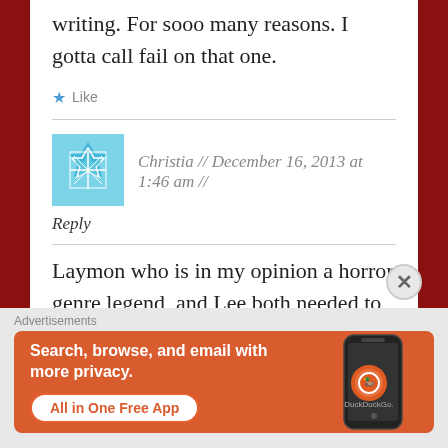writing. For sooo many reasons. I gotta call fail on that one.
★ Like
Christia // December 16, 2013 at 1:46 am //
Reply
Laymon who is in my opinion a horror genre legend, and Lee both needed to be on that list.
[Figure (screenshot): DuckDuckGo advertisement banner: orange background with white bold text 'Search, browse, and email with more privacy.' and 'All in One Free App' button, with DuckDuckGo logo on a phone graphic]